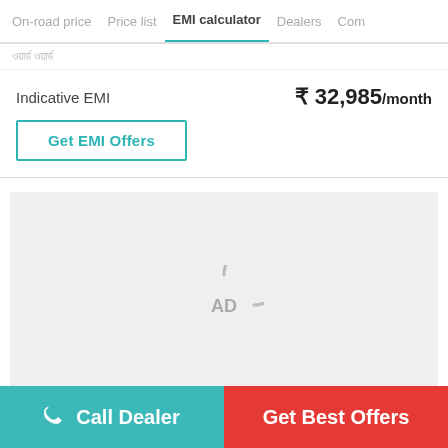On-road price  Price list  EMI calculator  Dealers  Com
Indicative EMI   ₹ 32,985/month
Get EMI Offers
[Figure (other): Advertisement placeholder with AD icon and circular arc]
Call Dealer
Get Best Offers